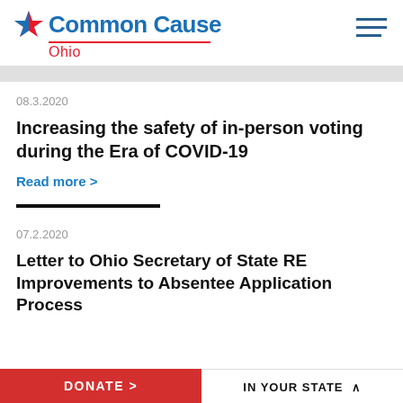[Figure (logo): Common Cause Ohio logo with red star and blue text, red underline, Ohio subtitle in red]
08.3.2020
Increasing the safety of in-person voting during the Era of COVID-19
Read more >
07.2.2020
Letter to Ohio Secretary of State RE Improvements to Absentee Application Process
DONATE >   IN YOUR STATE ^